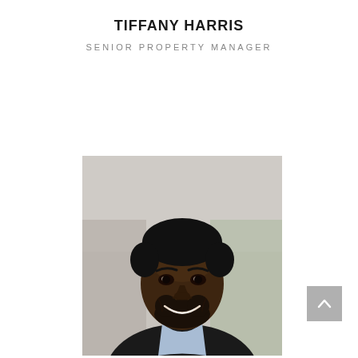TIFFANY HARRIS
SENIOR PROPERTY MANAGER
[Figure (photo): Professional headshot of a smiling Black man with short hair and a beard, wearing a black blazer over a light blue collared shirt, against a blurred office background.]